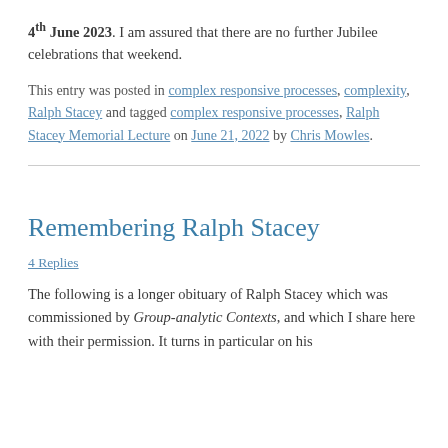4th June 2023. I am assured that there are no further Jubilee celebrations that weekend.
This entry was posted in complex responsive processes, complexity, Ralph Stacey and tagged complex responsive processes, Ralph Stacey Memorial Lecture on June 21, 2022 by Chris Mowles.
Remembering Ralph Stacey
4 Replies
The following is a longer obituary of Ralph Stacey which was commissioned by Group-analytic Contexts, and which I share here with their permission. It turns in particular on his